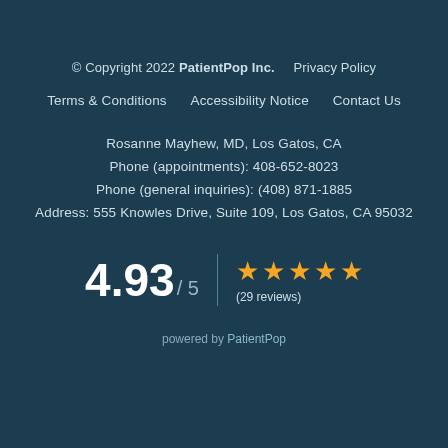© Copyright 2022 PatientPop Inc.    Privacy Policy
Terms & Conditions    Accessibility Notice    Contact Us
Rosanne Mayhew, MD, Los Gatos, CA
Phone (appointments): 408-652-8023
Phone (general inquiries): (408) 871-1885
Address: 555 Knowles Drive, Suite 109, Los Gatos, CA 95032
[Figure (infographic): Rating display showing 4.93 out of 5 with 5 gold stars and (29 reviews)]
powered by PatientPop